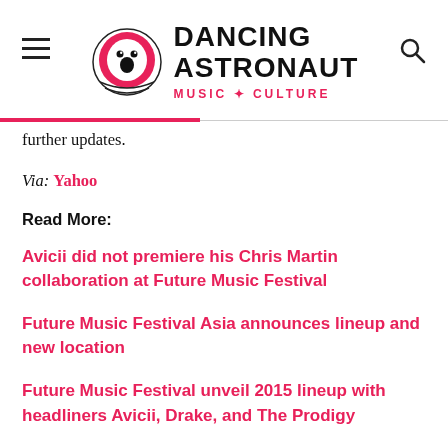Dancing Astronaut — Music + Culture
further updates.
Via: Yahoo
Read More:
Avicii did not premiere his Chris Martin collaboration at Future Music Festival
Future Music Festival Asia announces lineup and new location
Future Music Festival unveil 2015 lineup with headliners Avicii, Drake, and The Prodigy